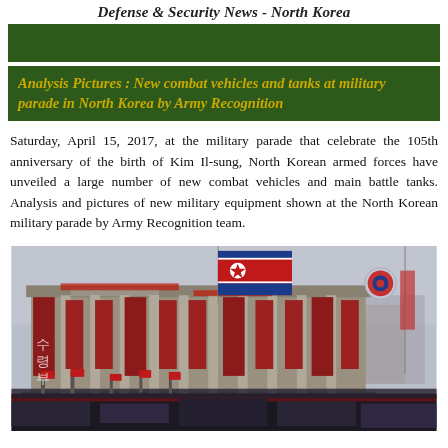Defense & Security News - North Korea
[Figure (other): Dark green banner/bar]
Analysis Pictures : New combat vehicles and tanks at military parade in North Korea by Army Recognition
Saturday, April 15, 2017, at the military parade that celebrate the 105th anniversary of the birth of Kim Il-sung, North Korean armed forces have unveiled a large number of new combat vehicles and main battle tanks. Analysis and pictures of new military equipment shown at the North Korean military parade by Army Recognition team.
[Figure (photo): Military parade in North Korea, showing a large government building decorated with red banners, Korean text, and North Korean flags. Military personnel and equipment visible in the foreground. A round badge/balloon visible in sky on the right.]